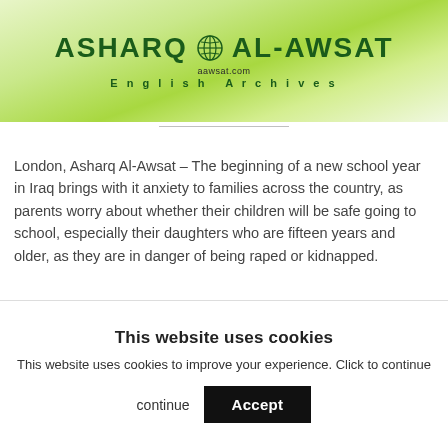[Figure (logo): Asharq Al-Awsat newspaper banner with green gradient background, globe icon, website URL aawsat.com and English Archives subtitle]
London, Asharq Al-Awsat – The beginning of a new school year in Iraq brings with it anxiety to families across the country, as parents worry about whether their children will be safe going to school, especially their daughters who are fifteen years and older, as they are in danger of being raped or kidnapped.
This website uses cookies
This website uses cookies to improve your experience. Click to continue
Accept